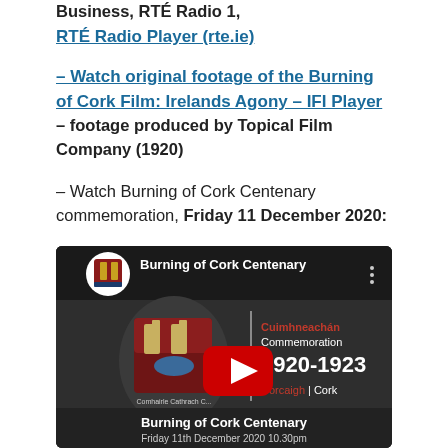Business, RTÉ Radio 1,
RTÉ Radio Player (rte.ie)
– Watch original footage of the Burning of Cork Film: Irelands Agony – IFI Player – footage produced by Topical Film Company (1920)
– Watch Burning of Cork Centenary commemoration, Friday 11 December 2020:
[Figure (screenshot): YouTube video thumbnail for 'Burning of Cork Centenary' showing Cork City Council coat of arms, text 'Cuimhneachán Commemoration 1920-1923 Corcaigh | Cork', Cork City Council logo, YouTube play button, and caption 'Burning of Cork Centenary Friday 11th December 2020 10.30pm']